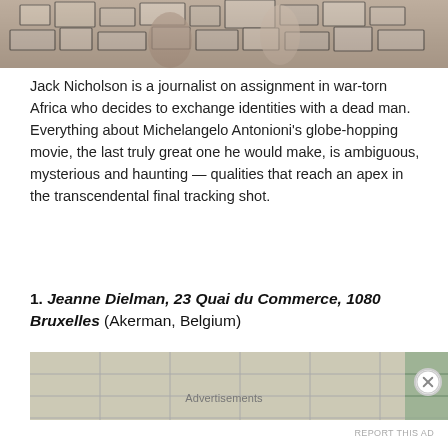[Figure (photo): Partial photo at top of page showing figures, mosaic background]
Jack Nicholson is a journalist on assignment in war-torn Africa who decides to exchange identities with a dead man. Everything about Michelangelo Antonioni's globe-hopping movie, the last truly great one he would make, is ambiguous, mysterious and haunting — qualities that reach an apex in the transcendental final tracking shot.
1. Jeanne Dielman, 23 Quai du Commerce, 1080 Bruxelles (Akerman, Belgium)
[Figure (photo): Partial photo at bottom showing tiled room interior with greenish/cream tiles]
Advertisements